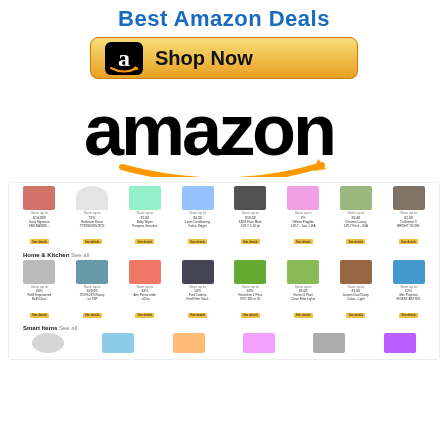Best Amazon Deals
[Figure (logo): Amazon Shop Now button with golden gradient background and Amazon 'a' logo icon]
[Figure (logo): Amazon wordmark logo with orange smile arrow]
[Figure (screenshot): Amazon product deals grid showing two rows of products with savings percentages, product names, and See Details buttons, plus a Home & Kitchen section and Smart Items section]
Best Amazon Deals promotional page with Shop Now button and product grid